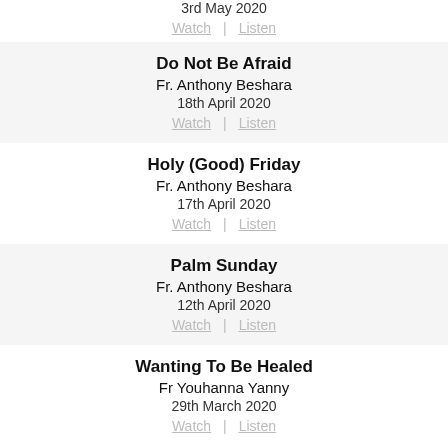3rd May 2020
Watch  Listen
Do Not Be Afraid
Fr. Anthony Beshara
18th April 2020
Watch  Listen
Holy (Good) Friday
Fr. Anthony Beshara
17th April 2020
Watch  Listen
Palm Sunday
Fr. Anthony Beshara
12th April 2020
Watch  Listen
Wanting To Be Healed
Fr Youhanna Yanny
29th March 2020
Watch  Listen